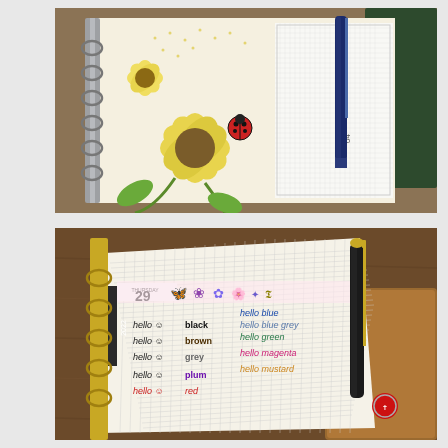[Figure (photo): A ring-bound planner open to a page decorated with a colorful illustration of sunflowers, leaves, and a ladybug. A dark blue fountain pen (labeled '04') rests on top. A second grid-paper notebook is visible in the background on the right. The scene is photographed on a wooden surface.]
[Figure (photo): A ring-bound planner open to a Thursday page dated '29', decorated with sticker tape of purple butterflies and flowers. The page shows handwritten ink color swatches in various colors: black, brown, grey, plum, red (red/pink ink), blue, blue grey, blue green (blue ink), magenta, mustard (pink/magenta ink). A black and gold pen rests beside the planner on a brown leather surface with a small religious medallion.]